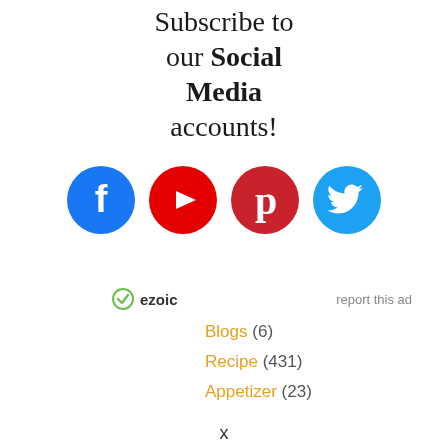Subscribe to our Social Media accounts!
[Figure (illustration): Four social media icon circles in a row: Facebook (blue), YouTube (red), Pinterest (red), Twitter (light blue)]
ezoic   report this ad
Blogs (6)
Recipe (431)
Appetizer (23)
x